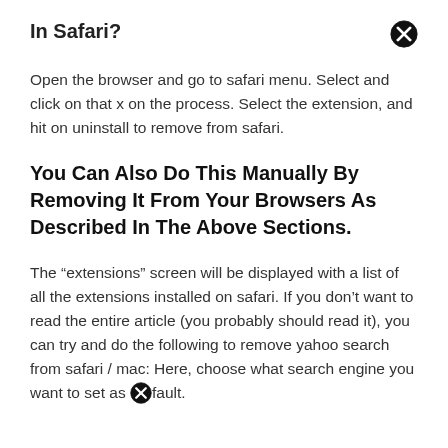In Safari?
Open the browser and go to safari menu. Select and click on that x on the process. Select the extension, and hit on uninstall to remove from safari.
You Can Also Do This Manually By Removing It From Your Browsers As Described In The Above Sections.
The “extensions” screen will be displayed with a list of all the extensions installed on safari. If you don’t want to read the entire article (you probably should read it), you can try and do the following to remove yahoo search from safari / mac: Here, choose what search engine you want to set as ✕fault.